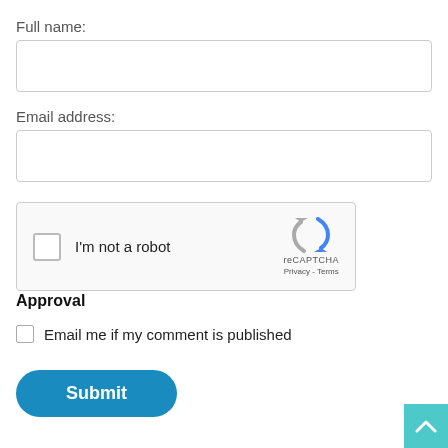Full name:
Email address:
[Figure (other): reCAPTCHA widget with checkbox labeled 'I'm not a robot' and reCAPTCHA logo with Privacy and Terms links]
Approval
Email me if my comment is published
Submit